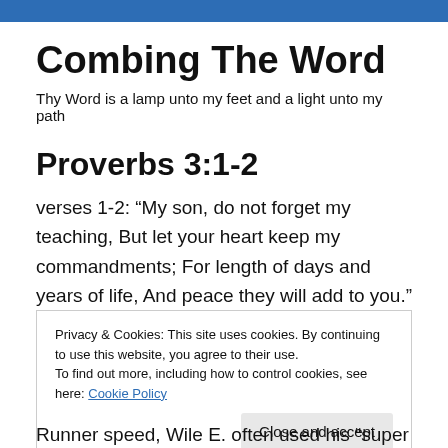Combing The Word
Thy Word is a lamp unto my feet and a light unto my path
Proverbs 3:1-2
verses 1-2: “My son, do not forget my teaching, But let your heart keep my commandments; For length of days and years of life, And peace they will add to you.”
Privacy & Cookies: This site uses cookies. By continuing to use this website, you agree to their use.
To find out more, including how to control cookies, see here: Cookie Policy
Runner speed, Wile E. often used his “super genius” to